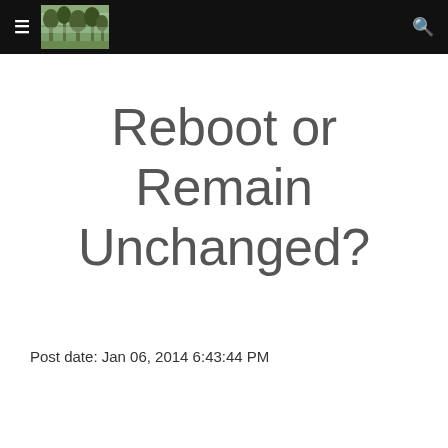≡  [forest logo image]  🔍
Reboot or Remain Unchanged?
Post date: Jan 06, 2014 6:43:44 PM